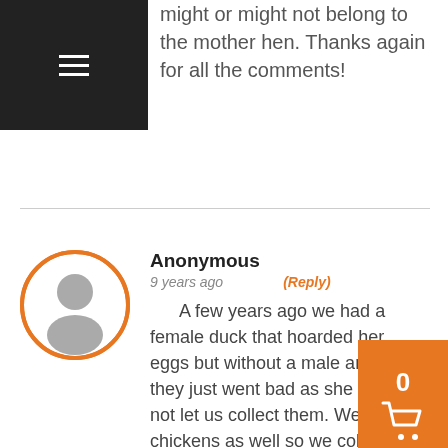might or might not belong to the mother hen. Thanks again for all the comments!
Anonymous
9 years ago   (Reply)
A few years ago we had a female duck that hoarded her eggs but without a male around, they just went bad as she would not let us collect them. We had chickens as well so we collected chicken eggs for about 10 days then when she was off her “nest” we switched the duck eggs with the chicken eggs. She